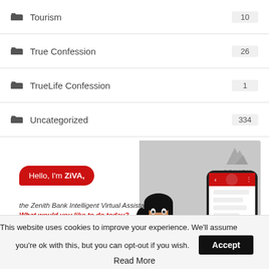Tourism 10
True Confession 26
TrueLife Confession 1
Uncategorized 334
[Figure (screenshot): Zenith Bank ZiVA chatbot advertisement banner showing speech bubble 'Hello, I'm ZiVA, the Zenith Bank Intelligent Virtual Assistant. What would you like to do today?' with phone mockup and virtual assistant character]
This website uses cookies to improve your experience. We'll assume you're ok with this, but you can opt-out if you wish. Accept
Read More